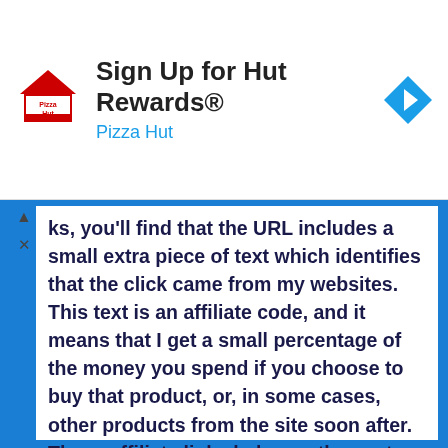[Figure (infographic): Pizza Hut advertisement banner: Pizza Hut logo on left, text 'Sign Up for Hut Rewards®' and 'Pizza Hut' in blue, blue diamond navigation arrow icon on right.]
ks, you'll find that the URL includes a small extra piece of text which identifies that the click came from my websites. This text is an affiliate code, and it means that I get a small percentage of the money you spend if you choose to buy that product, or, in some cases, other products from the site soon after. These affiliate links help pay the costs of producing my websites and ensure that the content is free to you.
COPYRIGHT AND OTHER RELEVANT INFORMATION